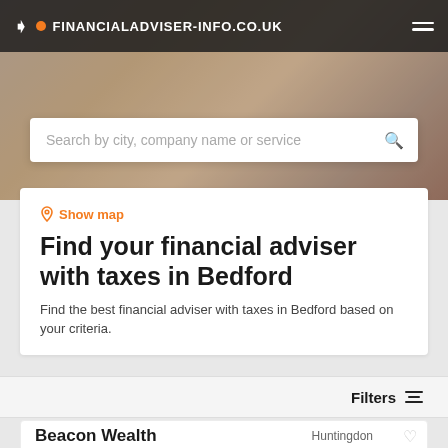FINANCIALADVISER-INFO.CO.UK
[Figure (screenshot): Search bar with placeholder text 'Search by city, company name or service' and a search icon on the right]
⊙ Show map
Find your financial adviser with taxes in Bedford
Find the best financial adviser with taxes in Bedford based on your criteria.
Filters
Beacon Wealth